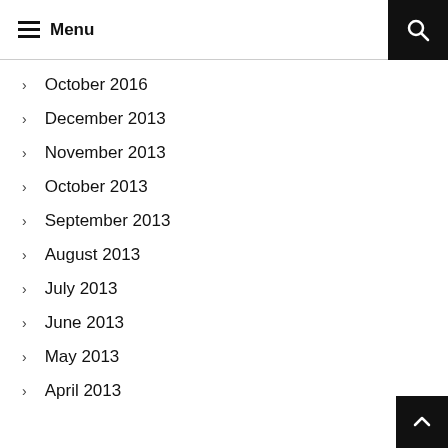Menu
October 2016
December 2013
November 2013
October 2013
September 2013
August 2013
July 2013
June 2013
May 2013
April 2013